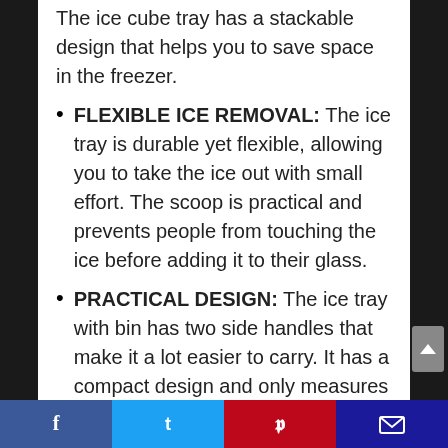The ice cube tray has a stackable design that helps you to save space in the freezer.
FLEXIBLE ICE REMOVAL: The ice tray is durable yet flexible, allowing you to take the ice out with small effort. The scoop is practical and prevents people from touching the ice before adding it to their glass.
PRACTICAL DESIGN: The ice tray with bin has two side handles that make it a lot easier to carry. It has a compact design and only measures 11 x 4.7 x 4.1 inch, saving tons of space. The bin and tray are easy to
Social share bar: Facebook, Twitter, Pinterest, Email